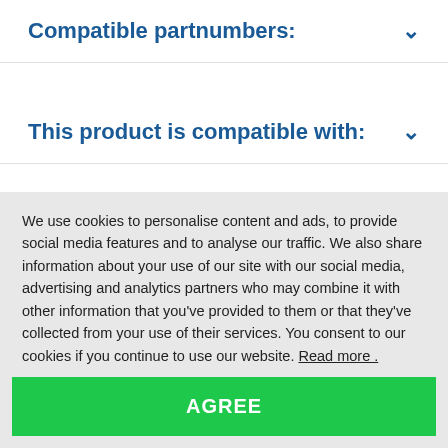Compatible partnumbers:
This product is compatible with:
Detailed description
We use cookies to personalise content and ads, to provide social media features and to analyse our traffic. We also share information about your use of our site with our social media, advertising and analytics partners who may combine it with other information that you've provided to them or that they've collected from your use of their services. You consent to our cookies if you continue to use our website. Read more .
AGREE